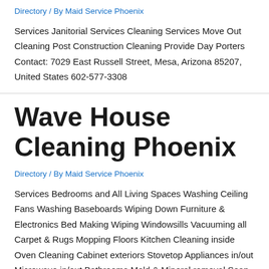Directory / By Maid Service Phoenix
Services Janitorial Services Cleaning Services Move Out Cleaning Post Construction Cleaning Provide Day Porters Contact: 7029 East Russell Street, Mesa, Arizona 85207, United States 602-577-3308
Wave House Cleaning Phoenix
Directory / By Maid Service Phoenix
Services Bedrooms and All Living Spaces Washing Ceiling Fans Washing Baseboards Wiping Down Furniture & Electronics Bed Making Wiping Windowsills Vacuuming all Carpet & Rugs Mopping Floors Kitchen Cleaning inside Oven Cleaning Cabinet exteriors Stovetop Appliances in/out Microwave in/out Bathrooms Mold & Mineral removal Soap Scum removal Wiping down all surfaces